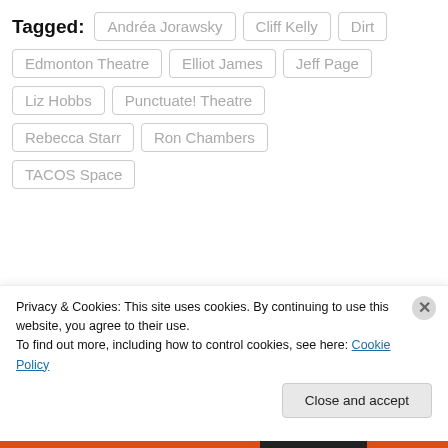Tagged:
Andréa Jorawsky
Cliff Kelly
Dirt
Edmonton Theatre
Elliot James
Jeff Page
Liz Hobbs
Punctuate! Theatre
Rebecca Starr
Ron Chambers
TACOS Space
About jennamarynowski
Marketer by day and theatre critic for After the House Lights by night. Follow me @jennamarynowski
Privacy & Cookies: This site uses cookies. By continuing to use this website, you agree to their use.
To find out more, including how to control cookies, see here: Cookie Policy
Close and accept